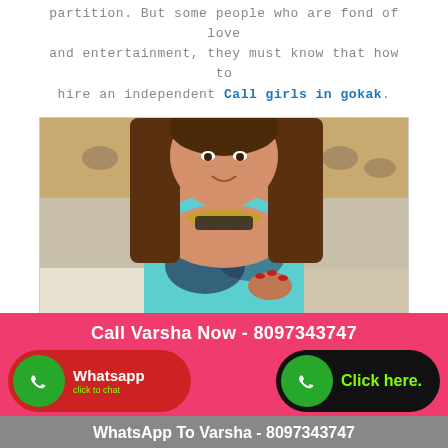partition. But some people who are fond of love and entertainment, they must know that how to hire an independent Call girls in gokak.
[Figure (photo): A young woman in a teal top posing on a tufted headboard bed, wearing a jeweled necklace]
Call Varsha Now - 8097343747
Whatsapp click to chat
Click here.
WhatsApp To Varsha - 8097343747